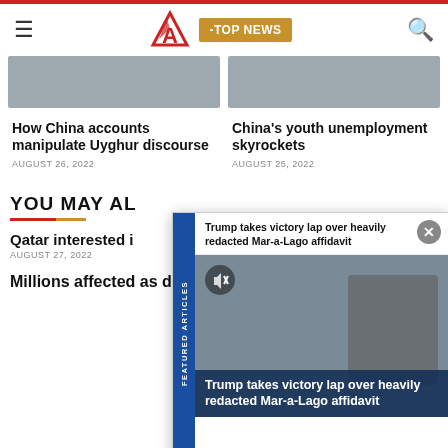TOP NEWS — News website header with logo and navigation
How China accounts manipulate Uyghur discourse
AUGUST 26, 2022
China's youth unemployment skyrockets
AUGUST 25, 2022
YOU MAY AL...
Qatar interested i...
AUGUST 27, 2022
[Figure (screenshot): Featured Articles popup overlay showing Trump takes victory lap over heavily redacted Mar-a-Lago affidavit, with photo of Trump speaking outdoors]
Millions affected as deadly floods batter Pakistan